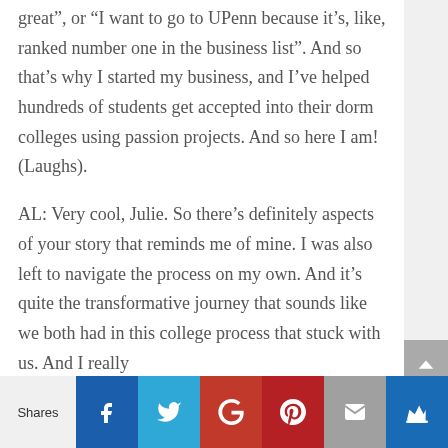great”, or “I want to go to UPenn because it’s, like, ranked number one in the business list”. And so that’s why I started my business, and I’ve helped hundreds of students get accepted into their dorm colleges using passion projects. And so here I am! (Laughs).
AL: Very cool, Julie. So there’s definitely aspects of your story that reminds me of mine. I was also left to navigate the process on my own. And it’s quite the transformative journey that sounds like we both had in this college process that stuck with us. And I really